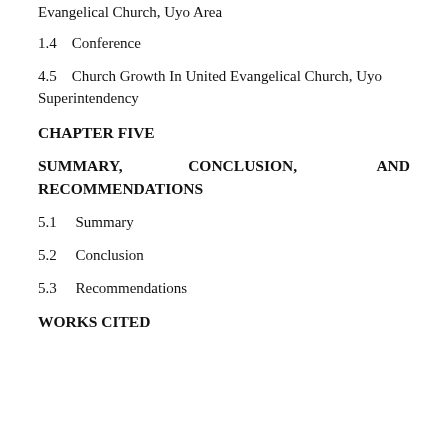Evangelical Church, Uyo Area
1.4    Conference
4.5    Church Growth In United Evangelical Church, Uyo Superintendency
CHAPTER FIVE
SUMMARY,          CONCLUSION,          AND RECOMMENDATIONS
5.1    Summary
5.2    Conclusion
5.3    Recommendations
WORKS CITED